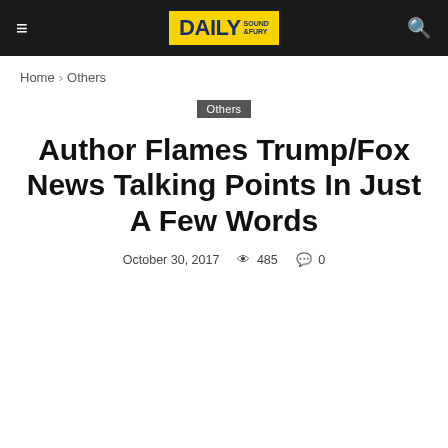Daily Sound & Fury
Home › Others
Others
Author Flames Trump/Fox News Talking Points In Just A Few Words
October 30, 2017  485  0